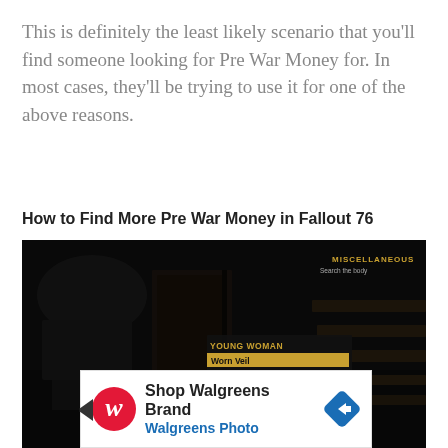This is definitely the least likely scenario that you'll find someone looking for Pre War Money for. In most cases, they'll be trying to use it for one of the above reasons.
How to Find More Pre War Money in Fallout 76
[Figure (screenshot): Screenshot from Fallout 76 showing a dark scene with a body loot menu open. The menu shows 'YOUNG WOMAN' with items: Worn Veil (highlighted in yellow), Pre-War Money, Tattered Dress. Bottom options show TAKE and TRANSFER. Top right shows MISCELLANEOUS search the body prompt.]
[Figure (screenshot): Advertisement banner: Shop Walgreens Brand - Walgreens Photo, with Walgreens W logo and blue diamond navigation arrow icon.]